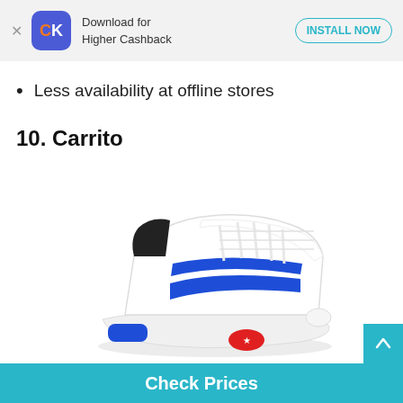Download for Higher Cashback  INSTALL NOW
Less availability at offline stores
10. Carrito
[Figure (photo): White sneaker/casual shoe by Carrito brand with blue stripes on the side, blue accent on the heel, and red star logo on the sole]
Carrito
Check Prices